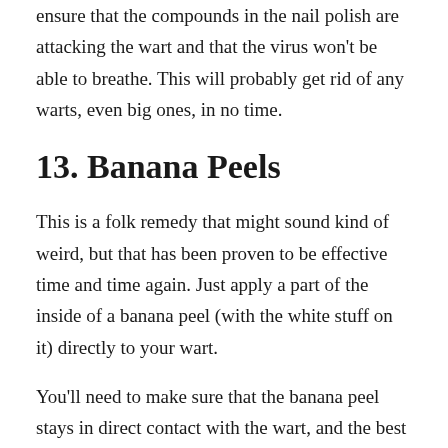ensure that the compounds in the nail polish are attacking the wart and that the virus won't be able to breathe. This will probably get rid of any warts, even big ones, in no time.
13. Banana Peels
This is a folk remedy that might sound kind of weird, but that has been proven to be effective time and time again. Just apply a part of the inside of a banana peel (with the white stuff on it) directly to your wart.
You'll need to make sure that the banana peel stays in direct contact with the wart, and the best way to do this is to tape it on. You can use a small section